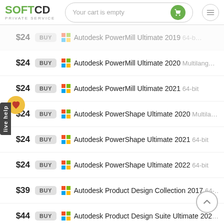SOFTCD PRIVATE SERVICE — Your cart is empty
$24 BUY Autodesk PowerMill Ultimate 2020 Multilang
$24 BUY Autodesk PowerMill Ultimate 2021 64-bit
$24 BUY Autodesk PowerShape Ultimate 2020 Multilang
$24 BUY Autodesk PowerShape Ultimate 2021 64-bit
$24 BUY Autodesk PowerShape Ultimate 2022 64-bit
$39 BUY Autodesk Product Design Collection 2017 64-bit
$44 BUY Autodesk Product Design Suite Ultimate 2021
$19 BUY Autodesk Recap Pro 2019 64-bit
$19 BUY Autodesk Recap Pro 2020 64-bit
$19 BUY Autodesk ReCap Pro 2021 64-bit
$19 BUY Autodesk ReCap Pro 2022 64-bit
$24 BUY Autodesk Revit...